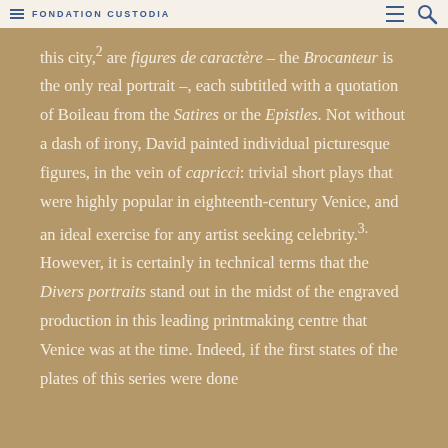FONDATION CUSTODIA
this city, 2 are figures de caractère – the Brocanteur is the only real portrait –, each subtitled with a quotation of Boileau from the Satires or the Epistles. Not without a dash of irony, David painted individual picturesque figures, in the vein of capricci: trivial short plays that were highly popular in eighteenth-century Venice, and an ideal exercise for any artist seeking celebrity. 3. However, it is certainly in technical terms that the Divers portraits stand out in the midst of the engraved production in this leading printmaking centre that Venice was at the time. Indeed, if the first states of the plates of this series were done